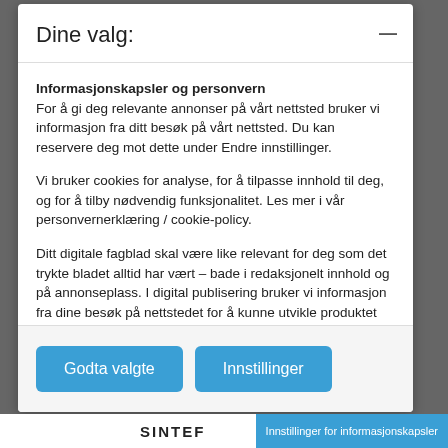Dine valg:
Informasjonskapsler og personvern
For å gi deg relevante annonser på vårt nettsted bruker vi informasjon fra ditt besøk på vårt nettsted. Du kan reservere deg mot dette under Endre innstillinger.
Vi bruker cookies for analyse, for å tilpasse innhold til deg, og for å tilby nødvendig funksjonalitet. Les mer i vår personvernerklæring / cookie-policy.
Ditt digitale fagblad skal være like relevant for deg som det trykte bladet alltid har vært – bade i redaksjonelt innhold og på annonseplass. I digital publisering bruker vi informasjon fra dine besøk på nettstedet for å kunne utvikle produktet kontinuerlig, slik at du opplever det nyttig og relevant.
Godta valgte
Innstillinger
SINTEF    Innstillinger for informasjonskapsler